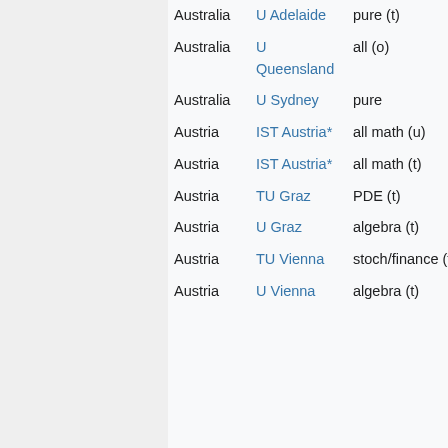| Country | Institution | Specialty | Extra |
| --- | --- | --- | --- |
| Australia | U Adelaide | pure (t) |  |
| Australia | U Queensland | all (o) |  |
| Australia | U Sydney | pure | Au... |
| Austria | IST Austria* | all math (u) | (∞... |
| Austria | IST Austria* | all math (t) | (∞... |
| Austria | TU Graz | PDE (t) | No... |
| Austria | U Graz | algebra (t) | Se... |
| Austria | TU Vienna | stoch/finance (t) | Ma... |
| Austria | U Vienna | algebra (t) | 20... |